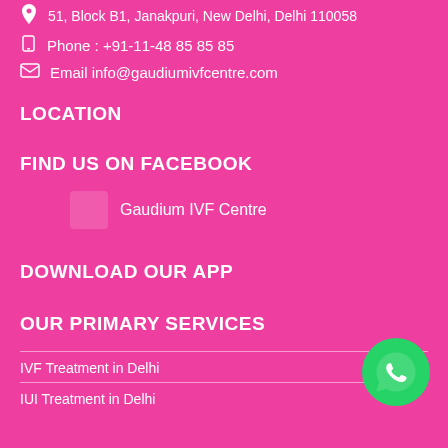51, Block B1, Janakpuri, New Delhi, Delhi 110058
Phone : +91-11-48 85 85 85
Email info@gaudiumivfcentre.com
LOCATION
FIND US ON FACEBOOK
Gaudium IVF Centre
DOWNLOAD OUR APP
OUR PRIMARY SERVICES
IVF Treatment in Delhi
IUI Treatment in Delhi
[Figure (logo): WhatsApp green circle logo button in bottom right corner]